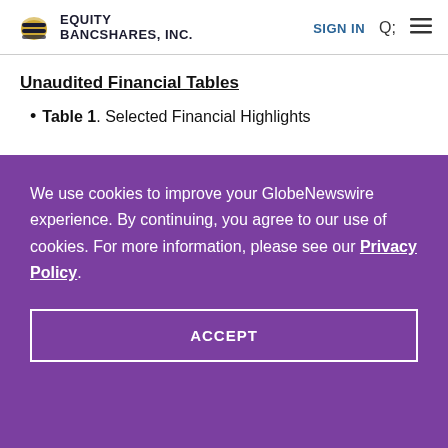Equity Bancshares, Inc.
Unaudited Financial Tables
Table 1. Selected Financial Highlights
We use cookies to improve your GlobeNewswire experience. By continuing, you agree to our use of cookies. For more information, please see our Privacy Policy.
ACCEPT